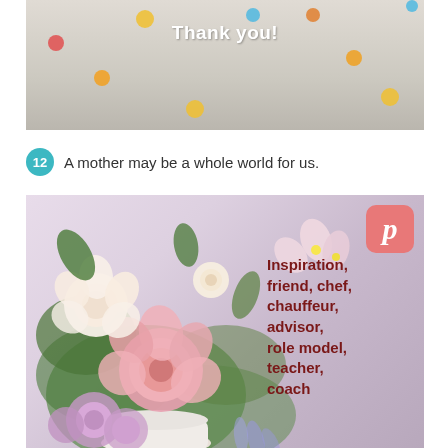[Figure (photo): A light grey/beige background with colorful polka dots (red, orange, yellow, blue) scattered around. White bold text reads 'Thank you!' in the upper center area.]
12  A mother may be a whole world for us.
[Figure (photo): A bouquet of pink roses, white roses, purple chrysanthemums, and pink/white alstroemeria in a white vase. On the right side overlaid dark red bold text reads: 'Inspiration, friend, chef, chauffeur, advisor, role model, teacher, coach'. A Pinterest logo icon appears in the upper right corner of the image.]